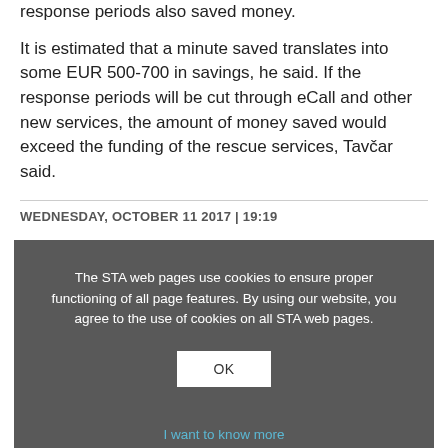response periods also saved money.
It is estimated that a minute saved translates into some EUR 500-700 in savings, he said. If the response periods will be cut through eCall and other new services, the amount of money saved would exceed the funding of the rescue services, Tavčar said.
WEDNESDAY, OCTOBER 11 2017 | 19:19
The STA web pages use cookies to ensure proper functioning of all page features. By using our website, you agree to the use of cookies on all STA web pages.
OK
I want to know more